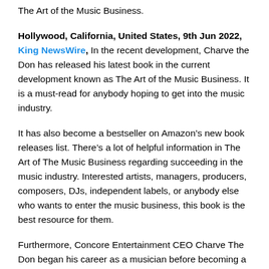The Art of the Music Business.
Hollywood, California, United States, 9th Jun 2022, King NewsWire, In the recent development, Charve the Don has released his latest book in the current development known as The Art of the Music Business. It is a must-read for anybody hoping to get into the music industry.
It has also become a bestseller on Amazon’s new book releases list. There’s a lot of helpful information in The Art of The Music Business regarding succeeding in the music industry. Interested artists, managers, producers, composers, DJs, independent labels, or anybody else who wants to enter the music business, this book is the best resource for them.
Furthermore, Concore Entertainment CEO Charve The Don began his career as a musician before becoming a producer, manager, and finally an executive at the company he co-